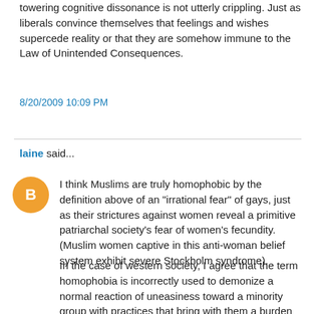towering cognitive dissonance is not utterly crippling. Just as liberals convince themselves that feelings and wishes supercede reality or that they are somehow immune to the Law of Unintended Consequences.
8/20/2009 10:09 PM
laine said...
I think Muslims are truly homophobic by the definition above of an "irrational fear" of gays, just as their strictures against women reveal a primitive patriarchal society's fear of women's fecundity. (Muslim women captive in this anti-woman belief system exhibit severe Stockholm syndrome).
In the case of western society, I agree that the term homophobia is incorrectly used to demonize a normal reaction of uneasiness toward a minority group with practices that bring with them a burden of pathologies for society. Further uneasiness is added when the group goes beyond a quest for tolerance and demands a kind of imprimateur from society, instead of seeking help to